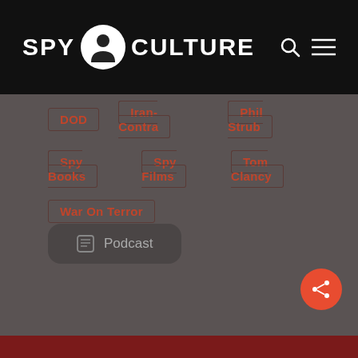SPY CULTURE
DOD
Iran-Contra
Phil Strub
Spy Books
Spy Films
Tom Clancy
War On Terror
Podcast
[Figure (other): Share button icon (red circle with share/network icon)]
[Figure (photo): Partial reddish-toned image visible at bottom of page]